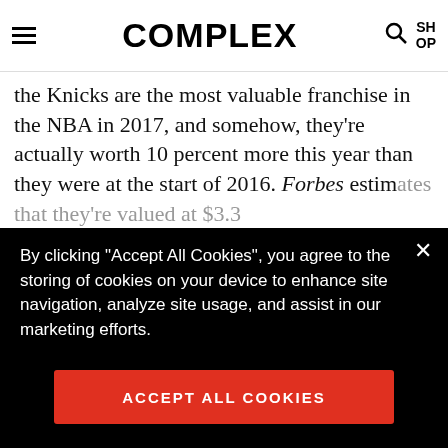COMPLEX
the Knicks are the most valuable franchise in the NBA in 2017, and somehow, they're actually worth 10 percent more this year than they were at the start of 2016. Forbes estim[ates that they're valued at $3.3] billion, making the[m...] second year in a ro[w...]
[Figure (screenshot): Top Articles popup overlay showing three thumbnail images]
By clicking “Accept All Cookies”, you agree to the storing of cookies on your device to enhance site navigation, analyze site usage, and assist in our marketing efforts.
ACCEPT ALL COOKIES